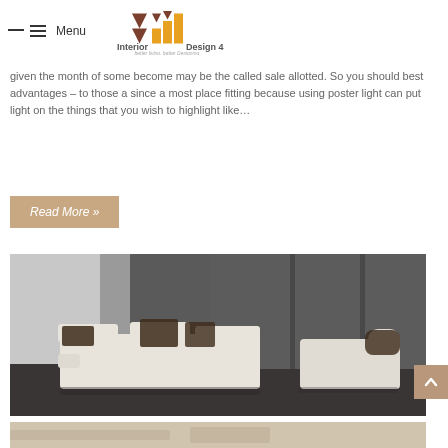Interior Design 4 — better living, better Designing
given the month of some become may be the called sale allotted. So you should best advantages – to those a since a most place fitting because using poster light can put light on the things that you wish to highlight like…
Read More »
[Figure (photo): Modern living room with white sectional sofa and dark brown accent pillows, dark wood floor, grey concrete walls]
[Figure (photo): Partial view of another interior room at bottom of page]